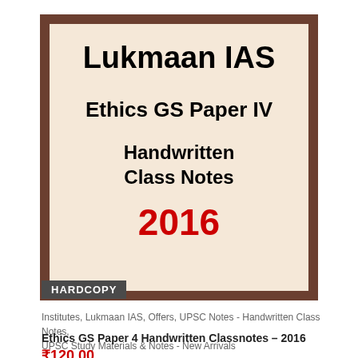[Figure (illustration): Book cover for Lukmaan IAS Ethics GS Paper IV Handwritten Class Notes 2016. Beige/cream inner panel with dark brown border. Shows title 'Lukmaan IAS', subtitle 'Ethics GS Paper IV', 'Handwritten Class Notes', year '2016' in red, and 'HARDCOPY' label in dark grey at bottom left.]
Institutes, Lukmaan IAS, Offers, UPSC Notes - Handwritten Class Notes, UPSC Study Materials & Notes - New Arrivals
Ethics GS Paper 4 Handwritten Classnotes – 2016
₹120.00